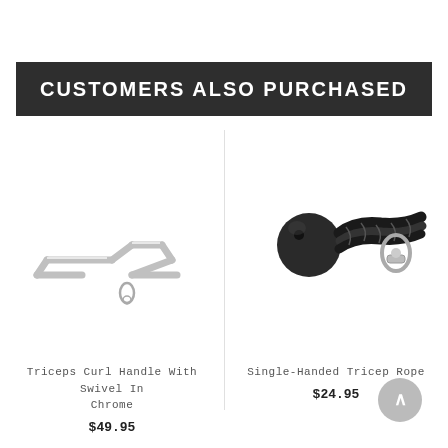CUSTOMERS ALSO PURCHASED
[Figure (photo): Chrome triceps curl handle bar with swivel attachment, shown on white background]
Triceps Curl Handle With Swivel In Chrome
$49.95
[Figure (photo): Single-handed tricep rope with black ball end and carabiner clip, shown on white background]
Single-Handed Tricep Rope
$24.95